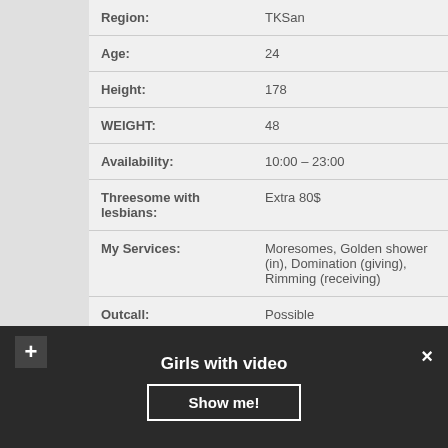| Field | Value |
| --- | --- |
| Region: | TKSan |
| Age: | 24 |
| Height: | 178 |
| WEIGHT: | 48 |
| Availability: | 10:00 – 23:00 |
| Threesome with lesbians: | Extra 80$ |
| My Services: | Moresomes, Golden shower (in), Domination (giving), Rimming (receiving) |
| Outcall: | Possible |
| 1 HOUR: | 120 |
| For family | 400$ |
Girls with video
Show me!